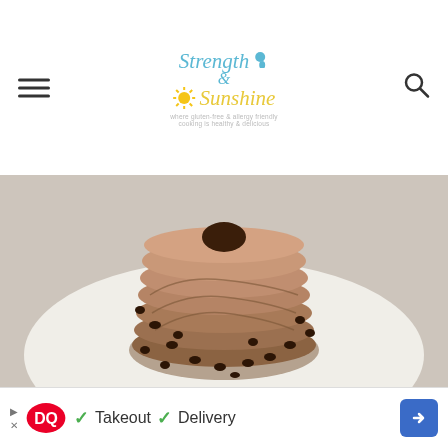Strength & Sunshine — where gluten-free & allergy friendly cooking is healthy & delicious
[Figure (photo): A tall stack of chocolate chip pancakes with a hole in the center (like a donut stack), on a white plate, surrounded by scattered chocolate chips. Brown textured pancakes stacked high on a white background.]
[Figure (infographic): Dairy Queen advertisement banner: DQ logo with checkmarks for Takeout and Delivery, and a blue arrow button on the right.]